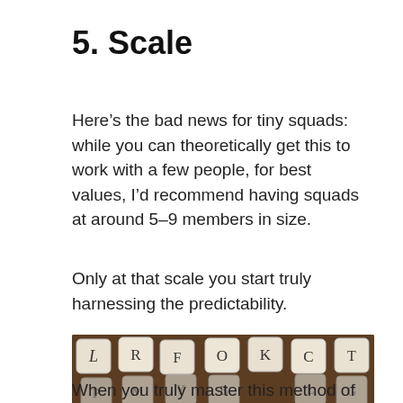5. Scale
Here’s the bad news for tiny squads: while you can theoretically get this to work with a few people, for best values, I’d recommend having squads at around 5–9 members in size.
Only at that scale you start truly harnessing the predictability.
[Figure (photo): Photo of letter dice scattered on a wooden surface. A caption overlay reads: The dice have spoken: your project will be delivered in December]
The dice have spoken: your project will be delivered in December
When you truly master this method of